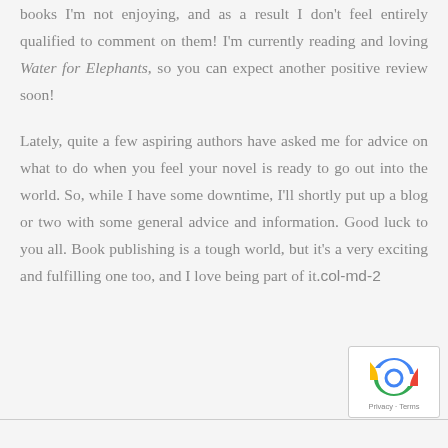books I'm not enjoying, and as a result I don't feel entirely qualified to comment on them! I'm currently reading and loving Water for Elephants, so you can expect another positive review soon!
Lately, quite a few aspiring authors have asked me for advice on what to do when you feel your novel is ready to go out into the world. So, while I have some downtime, I'll shortly put up a blog or two with some general advice and information. Good luck to you all. Book publishing is a tough world, but it's a very exciting and fulfilling one too, and I love being part of it.col-md-2